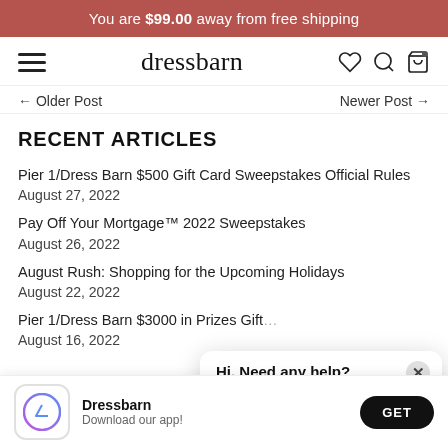You are $99.00 away from free shipping
dressbarn
← Older Post   Newer Post →
RECENT ARTICLES
Pier 1/Dress Barn $500 Gift Card Sweepstakes Official Rules
August 27, 2022
Pay Off Your Mortgage™ 2022 Sweepstakes
August 26, 2022
August Rush: Shopping for the Upcoming Holidays
August 22, 2022
Pier 1/Dress Barn $3000 in Prizes Gift...
August 16, 2022
[Figure (screenshot): Chat popup: 'Hi. Need any help?' with close button]
[Figure (screenshot): App download banner: Dressbarn app icon, 'Dressbarn Download our app!' text, and GET button]